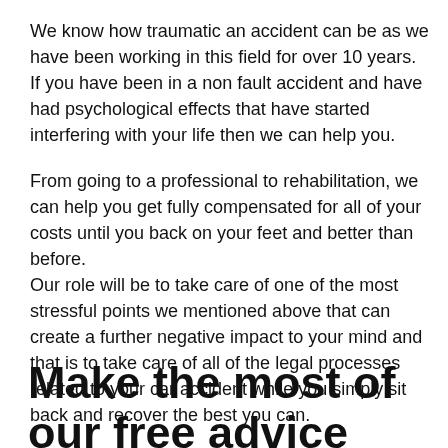We know how traumatic an accident can be as we have been working in this field for over 10 years. If you have been in a non fault accident and have had psychological effects that have started interfering with your life then we can help you.
From going to a professional to rehabilitation, we can help you get fully compensated for all of your costs until you back on your feet and better than before.
Our role will be to take care of one of the most stressful points we mentioned above that can create a further negative impact to your mind and that is to take care of all of the legal processes related to your car accident while you simply sit back and recover the best you can.
Make the most of our free advice